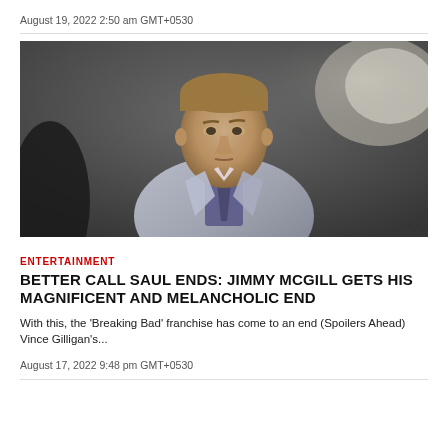August 19, 2022 2:50 am GMT+0530
[Figure (photo): A man in a light plaid suit and dark purple shirt and tie, looking serious, in a blurred indoor corridor background. Still from Better Call Saul.]
ENTERTAINMENT
BETTER CALL SAUL ENDS: JIMMY MCGILL GETS HIS MAGNIFICENT AND MELANCHOLIC END
With this, the 'Breaking Bad' franchise has come to an end (Spoilers Ahead) Vince Gilligan's...
August 17, 2022 9:48 pm GMT+0530